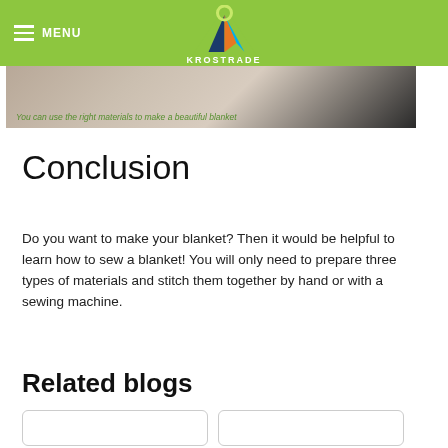MENU | KROSTRADE
[Figure (photo): Partial image of a blanket or fabric project with green italic overlay text]
Conclusion
Do you want to make your blanket? Then it would be helpful to learn how to sew a blanket! You will only need to prepare three types of materials and stitch them together by hand or with a sewing machine.
Related blogs